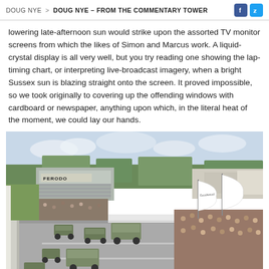DOUG NYE > DOUG NYE – FROM THE COMMENTARY TOWER
lowering late-afternoon sun would strike upon the assorted TV monitor screens from which the likes of Simon and Marcus work. A liquid-crystal display is all very well, but you try reading one showing the lap-timing chart, or interpreting live-broadcast imagery, when a bright Sussex sun is blazing straight onto the screen. It proved impossible, so we took originally to covering up the offending windows with cardboard or newspaper, anything upon which, in the literal heat of the moment, we could lay our hands.
[Figure (photo): Aerial/elevated view of a motorsport circuit parade with military vehicles driving on the track, crowds lining both sides, white flags/banners visible, grandstands with Ferodo advertising in background, trees and sky.]